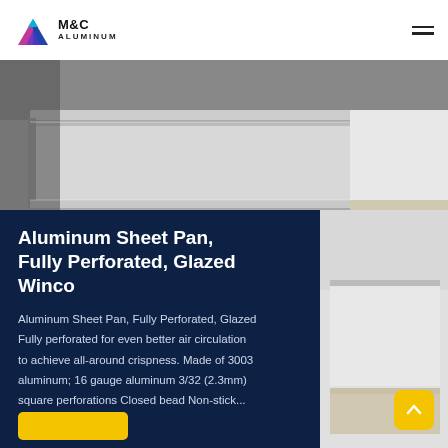M&C ALUMINUM
[Figure (photo): Close-up photograph of aluminum sheet pans stacked, showing metallic reflective surface and pan edges]
Aluminum Sheet Pan, Fully Perforated, Glazed Winco
Aluminum Sheet Pan, Fully Perforated, Glazed Fully perforated for even better air circulation to achieve all-around crispness. Made of 3003 aluminum; 16 gauge aluminum 3/32 (2.3mm) square perforations Closed bead Non-stick...